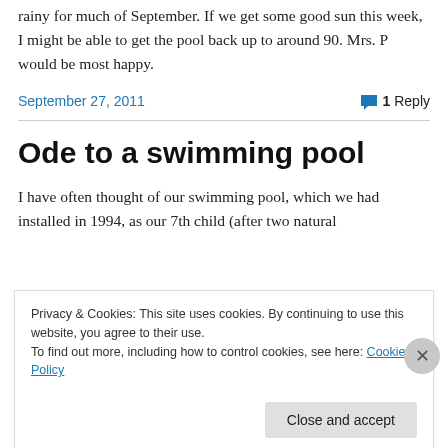rainy for much of September. If we get some good sun this week, I might be able to get the pool back up to around 90. Mrs. P would be most happy.
September 27, 2011   💬 1 Reply
Ode to a swimming pool
I have often thought of our swimming pool, which we had installed in 1994, as our 7th child (after two natural
Privacy & Cookies: This site uses cookies. By continuing to use this website, you agree to their use.
To find out more, including how to control cookies, see here: Cookie Policy
Close and accept